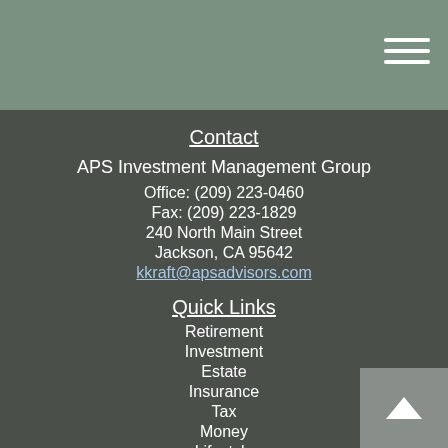Contact
APS Investment Management Group
Office: (209) 223-0460
Fax: (209) 223-1829
240 North Main Street
Jackson, CA 95642
kkraft@apsadvisors.com
Quick Links
Retirement
Investment
Estate
Insurance
Tax
Money
Lifestyle
All Articles
All Videos